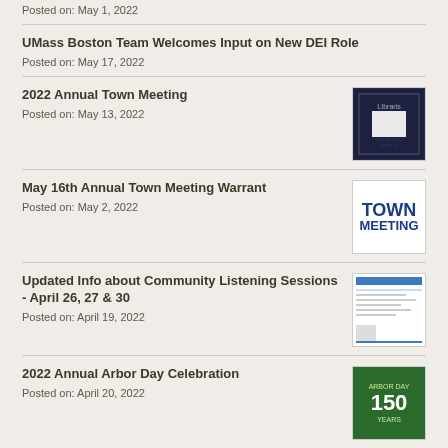Posted on: May 1, 2022
UMass Boston Team Welcomes Input on New DEI Role
Posted on: May 17, 2022
2022 Annual Town Meeting
Posted on: May 13, 2022
[Figure (photo): Cover image for 2022 Annual Town Meeting document]
May 16th Annual Town Meeting Warrant
Posted on: May 2, 2022
[Figure (illustration): Town Meeting logo with blue text reading TOWN MEETING]
Updated Info about Community Listening Sessions - April 26, 27 & 30
Posted on: April 19, 2022
[Figure (photo): Document image for Community Listening Sessions]
2022 Annual Arbor Day Celebration
Posted on: April 20, 2022
[Figure (illustration): Green cover image with 150 and tree logo for Arbor Day Celebration]